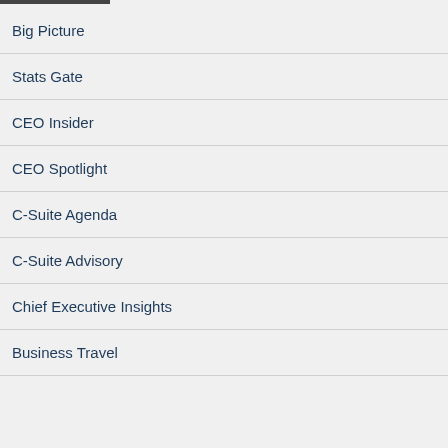Big Picture
Stats Gate
CEO Insider
CEO Spotlight
C-Suite Agenda
C-Suite Advisory
Chief Executive Insights
Business Travel